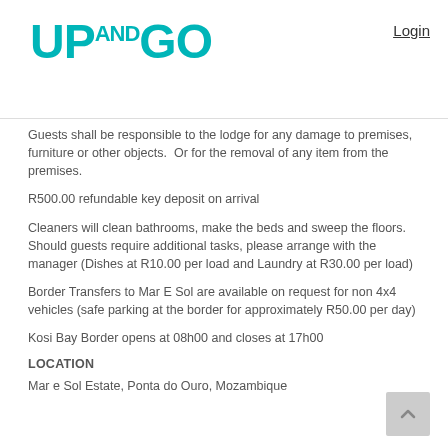[Figure (logo): Up and Go logo in teal color with stylized text: UP AND GO]
Login
Guests shall be responsible to the lodge for any damage to premises, furniture or other objects.  Or for the removal of any item from the premises.
R500.00 refundable key deposit on arrival
Cleaners will clean bathrooms, make the beds and sweep the floors.  Should guests require additional tasks, please arrange with the manager (Dishes at R10.00 per load and Laundry at R30.00 per load)
Border Transfers to Mar E Sol are available on request for non 4x4 vehicles (safe parking at the border for approximately R50.00 per day)
Kosi Bay Border opens at 08h00 and closes at 17h00
LOCATION
Mar e Sol Estate, Ponta do Ouro, Mozambique